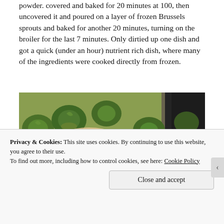powder. covered and baked for 20 minutes at 400, then uncovered it and poured on a layer of frozen Brussels sprouts and baked for another 20 minutes, turning on the broiler for the last 7 minutes. Only dirtied up one dish and got a quick (under an hour) nutrient rich dish, where many of the ingredients were cooked directly from frozen.
[Figure (photo): Photo of cooked Brussels sprouts with ham/chicken on a dark baking tray]
Privacy & Cookies: This site uses cookies. By continuing to use this website, you agree to their use.
To find out more, including how to control cookies, see here: Cookie Policy
Close and accept